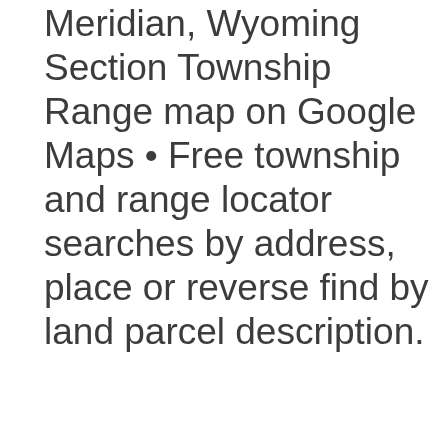Range 66 West, 6th Principal Meridian, Wyoming Section Township Range map on Google Maps • Free township and range locator searches by address, place or reverse find by land parcel description.
Just need an image? Scroll down the page to the Wyoming Section Township Range Map Image
Township and Range made easy! With this